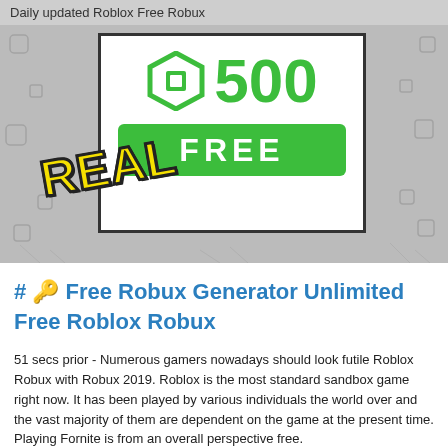Daily updated Roblox Free Robux
[Figure (illustration): Promotional image showing Roblox Robux currency icon with '500' in green text, a green 'FREE' button, and a yellow 'REAL' stamp overlaid on the image, set against a gray background with scattered icons.]
# 🔑 Free Robux Generator Unlimited Free Roblox Robux
51 secs prior - Numerous gamers nowadays should look futile Roblox Robux with Robux 2019. Roblox is the most standard sandbox game right now. It has been played by various individuals the world over and the vast majority of them are dependent on the game at the present time. Playing Fornite is from an overall perspective free.